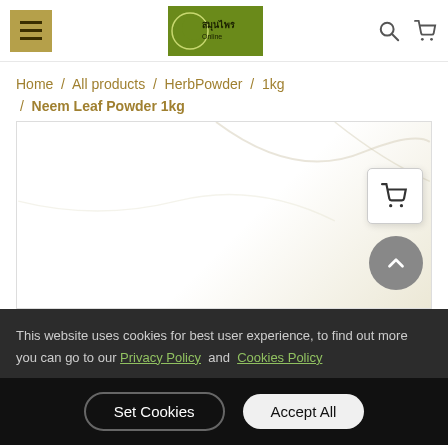Menu | Logo | Search | Cart
Home / All products / HerbPowder / 1kg / Neem Leaf Powder 1kg
[Figure (photo): Product image area for Neem Leaf Powder 1kg, showing white/marble background with floating cart and scroll-to-top buttons]
This website uses cookies for best user experience, to find out more you can go to our Privacy Policy and Cookies Policy
Set Cookies  Accept All